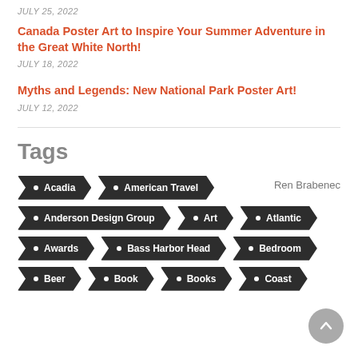JULY 25, 2022
Canada Poster Art to Inspire Your Summer Adventure in the Great White North!
JULY 18, 2022
Myths and Legends: New National Park Poster Art!
JULY 12, 2022
Tags
Acadia
American Travel
Ren Brabenec
Anderson Design Group
Art
Atlantic
Awards
Bass Harbor Head
Bedroom
Beer
Book
Books
Coast